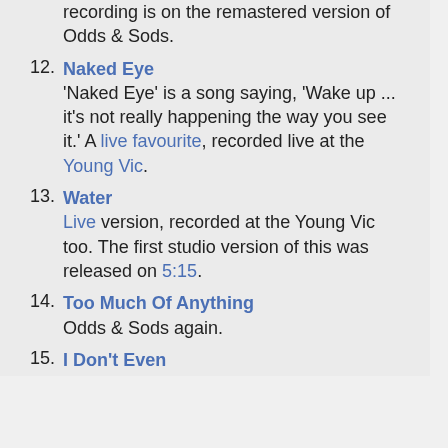recording is on the remastered version of Odds & Sods.
12. Naked Eye — 'Naked Eye' is a song saying, 'Wake up ... it's not really happening the way you see it.' A live favourite, recorded live at the Young Vic.
13. Water — Live version, recorded at the Young Vic too. The first studio version of this was released on 5:15.
14. Too Much Of Anything — Odds & Sods again.
15. I Don't Even Know Myself